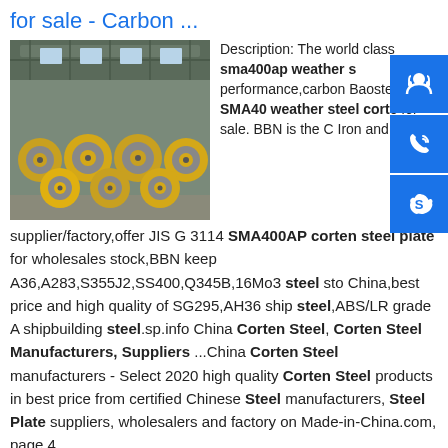for sale - Carbon ...
[Figure (photo): Steel coils stacked in an industrial warehouse/factory setting, yellow/orange colored rolls of steel]
Description: The world class sma400ap weather steel performance,carbon Baosteel JIS SMA400 weather steel corten plate for sale. BBN is the China Iron and steel supplier/factory,offer JIS G 3114 SMA400AP corten steel plate for wholesales stock,BBN keep A36,A283,S355J2,SS400,Q345B,16Mo3 steel stock in China,best price and high quality of SG295,AH36 ship steel,ABS/LR grade A shipbuilding steel.sp.info China Corten Steel, Corten Steel Manufacturers, Suppliers ...China Corten Steel manufacturers - Select 2020 high quality Corten Steel products in best price from certified Chinese Steel manufacturers, Steel Plate suppliers, wholesalers and factory on Made-in-China.com, page 4